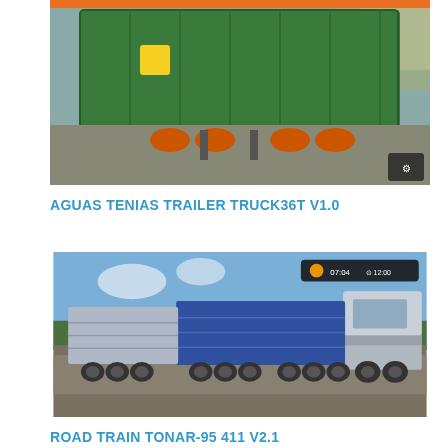[Figure (screenshot): A farming simulator screenshot showing a large green agricultural trailer/truck from behind, parked on a dirt surface. The trailer appears to be a tipper/dumper type with green body and orange/red wheels. There is a small HUD icon visible in the bottom right corner.]
AGUAS TENIAS TRAILER TRUCK36T V1.0
[Figure (screenshot): A farming simulator screenshot showing a blue road train truck with two long flatbed/stake trailers, photographed from the side on a dirt track. The truck has a large cab and multiple axles. There is a game HUD visible in the top right. Trees and sky are visible in the background.]
ROAD TRAIN TONAR-95 411 V2.1